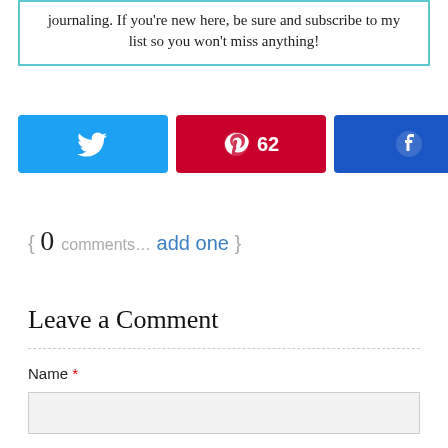journaling. If you're new here, be sure and subscribe to my list so you won't miss anything!
[Figure (screenshot): Social share buttons: Twitter button (blue), Pinterest button (red) with count 62, Facebook button (blue), and share count showing 62 SHARES]
{ 0 comments… add one }
Leave a Comment
Name *
Email *